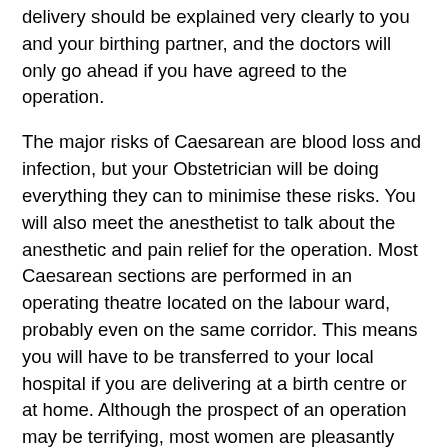delivery should be explained very clearly to you and your birthing partner, and the doctors will only go ahead if you have agreed to the operation.
The major risks of Caesarean are blood loss and infection, but your Obstetrician will be doing everything they can to minimise these risks. You will also meet the anesthetist to talk about the anesthetic and pain relief for the operation. Most Caesarean sections are performed in an operating theatre located on the labour ward, probably even on the same corridor. This means you will have to be transferred to your local hospital if you are delivering at a birth centre or at home. Although the prospect of an operation may be terrifying, most women are pleasantly surprised that it was not as bad as expected - it can still be a very fulfilling experience for you and your birth partner.